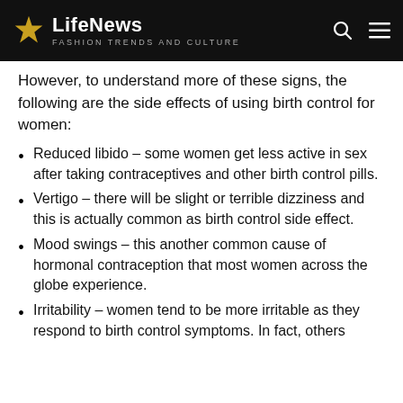LifeNews – Fashion Trends and Culture
However, to understand more of these signs, the following are the side effects of using birth control for women:
Reduced libido – some women get less active in sex after taking contraceptives and other birth control pills.
Vertigo – there will be slight or terrible dizziness and this is actually common as birth control side effect.
Mood swings – this another common cause of hormonal contraception that most women across the globe experience.
Irritability – women tend to be more irritable as they respond to birth control symptoms. In fact, others